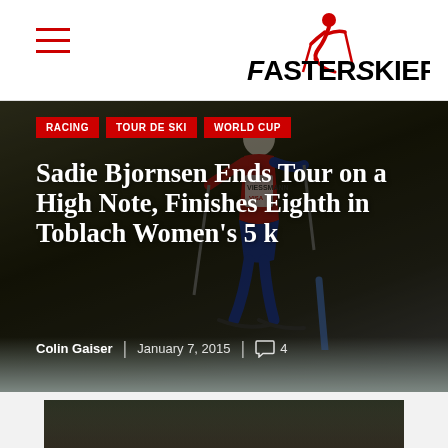FasterSkier
RACING
TOUR DE SKI
WORLD CUP
Sadie Bjornsen Ends Tour on a High Note, Finishes Eighth in Toblach Women's 5 k
Colin Gaiser | January 7, 2015 | 4
[Figure (photo): Cross-country skier racing on snow, wearing USA bib with Viessmann and Visa logos visible, dark outdoor background]
[Figure (photo): Second photo of a skier, partially visible at bottom of page]